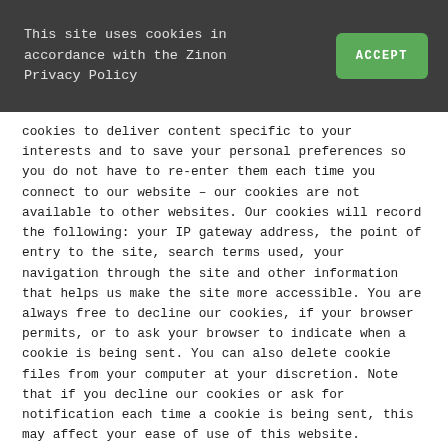This site uses cookies in accordance with the Zinon Privacy Policy
cookies to deliver content specific to your interests and to save your personal preferences so you do not have to re-enter them each time you connect to our website – our cookies are not available to other websites. Our cookies will record the following: your IP gateway address, the point of entry to the site, search terms used, your navigation through the site and other information that helps us make the site more accessible. You are always free to decline our cookies, if your browser permits, or to ask your browser to indicate when a cookie is being sent. You can also delete cookie files from your computer at your discretion. Note that if you decline our cookies or ask for notification each time a cookie is being sent, this may affect your ease of use of this website.
PERSONAL DATA
We will process any Personal Data you provide to us for the following purposes: